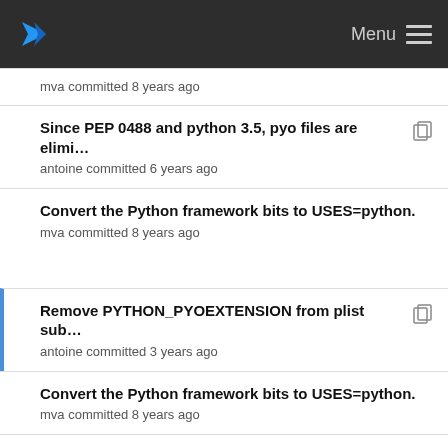Menu
mva committed 8 years ago
Since PEP 0488 and python 3.5, pyo files are elimi...
antoine committed 6 years ago
Convert the Python framework bits to USES=python.
mva committed 8 years ago
Remove PYTHON_PYOEXTENSION from plist sub...
antoine committed 3 years ago
Convert the Python framework bits to USES=python.
mva committed 8 years ago
Switch PYTHON_REL from a 3 digits number to a ...
antoine committed 7 years ago
Convert the Python framework bits to USES=python.
mva committed 8 years ago